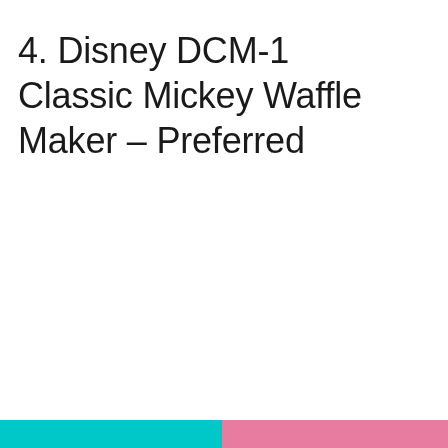4. Disney DCM-1 Classic Mickey Waffle Maker – Preferred